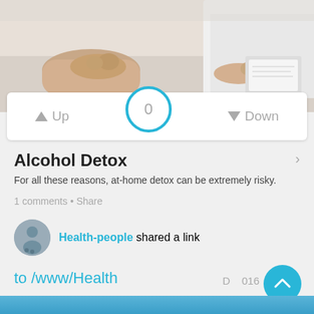[Figure (photo): Photo of two people sitting across a table, hands visible, one person in white coat (medical consultation scene)]
[Figure (infographic): Vote bar with Up arrow button, centered circle showing score 0, and Down arrow button]
Alcohol Detox
For all these reasons, at-home detox can be extremely risky.
1 comments • Share
Health-people shared a link
to /www/Health
D 016